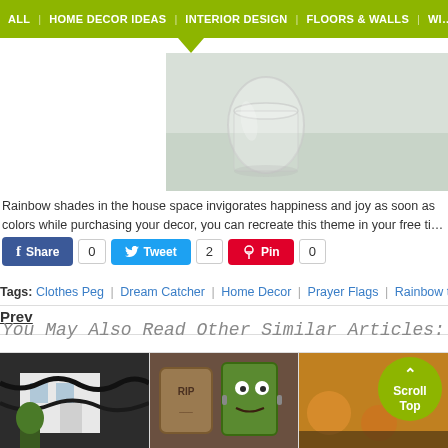ALL | HOME DECOR IDEAS | INTERIOR DESIGN | FLOORS & WALLS | WI…
[Figure (photo): Partial photo strip showing a glass/jar on a light background]
Rainbow shades in the house space invigorates happiness and joy as soon as… colors while purchasing your decor, you can recreate this theme in your free ti…
Share 0 | Tweet 2 | Pin 0
Tags: Clothes Peg | Dream Catcher | Home Decor | Prayer Flags | Rainbow the…
Prev
You May Also Read Other Similar Articles:
[Figure (photo): Halloween outdoor decoration with black garland on white house]
[Figure (photo): Halloween themed cookies including a Frankenstein cookie]
[Figure (photo): Partially visible image with scroll-to-top button overlay (olive green circle with arrow and text Scroll Top)]